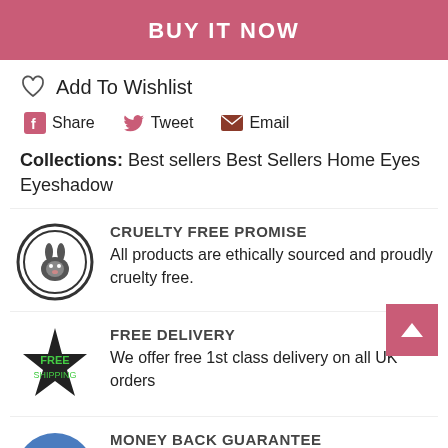BUY IT NOW
Add To Wishlist
Share  Tweet  Email
Collections: Best sellers Best Sellers Home Eyes Eyeshadow
CRUELTY FREE PROMISE
All products are ethically sourced and proudly cruelty free.
FREE DELIVERY
We offer free 1st class delivery on all UK orders
MONEY BACK GUARANTEE
Buy with confidence with our no quibbles 28 day return policy.